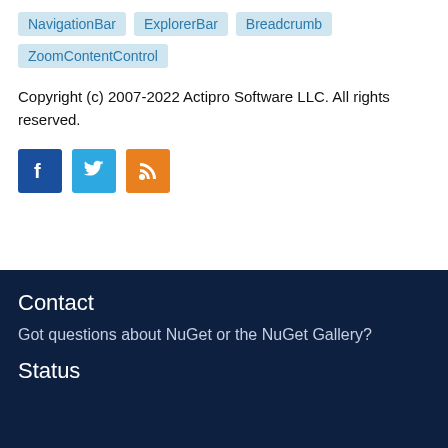NavigationBar
ExplorerBar
Breadcrumb
ZoomContentControl
Copyright (c) 2007-2022 Actipro Software LLC. All rights reserved.
[Figure (logo): Three social media icons: Facebook (blue), Twitter (light blue), RSS feed (orange)]
Contact
Got questions about NuGet or the NuGet Gallery?
Status